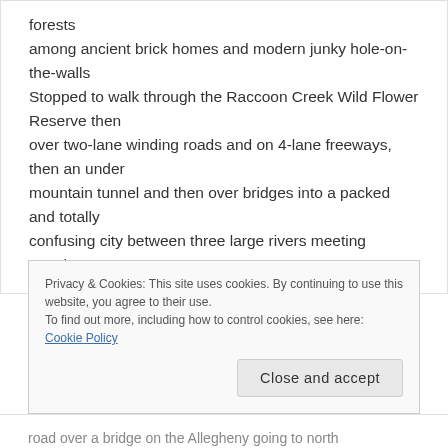forests
among ancient brick homes and modern junky hole-on-the-walls
Stopped to walk through the Raccoon Creek Wild Flower Reserve then
over two-lane winding roads and on 4-lane freeways, then an under
mountain tunnel and then over bridges into a packed and totally
confusing city between three large rivers meeting together
Privacy & Cookies: This site uses cookies. By continuing to use this website, you agree to their use.
To find out more, including how to control cookies, see here: Cookie Policy
Close and accept
road over a bridge on the Allegheny going to north